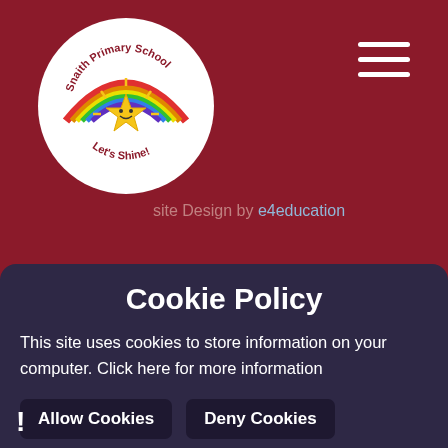[Figure (logo): Snaith Primary School circular logo with rainbow and star, text 'Let's Shine!']
[Figure (other): Hamburger menu icon (three white horizontal lines) in top right corner]
site Design by e4education
Privacy Policy | Cookie Settings
h Visibility
Cookie Policy
This site uses cookies to store information on your computer. Click here for more information
Allow Cookies
Deny Cookies
!